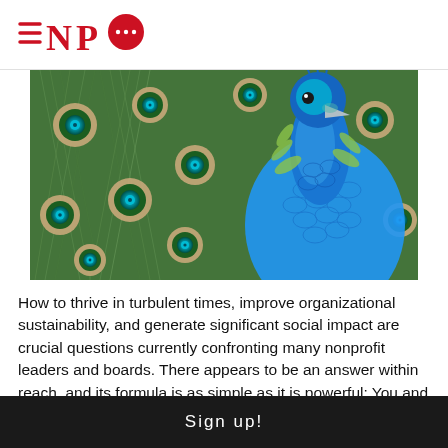NPQ
[Figure (photo): Close-up photograph of a peacock displaying its colorful feathers, showing the iridescent eye-spots on the tail feathers in green and teal, with the peacock's blue neck and head visible on the right side.]
How to thrive in turbulent times, improve organizational sustainability, and generate significant social impact are crucial questions currently confronting many nonprofit leaders and boards. There appears to be an answer within reach, and its formula is as simple as it is powerful: You and your agency
Sign up!